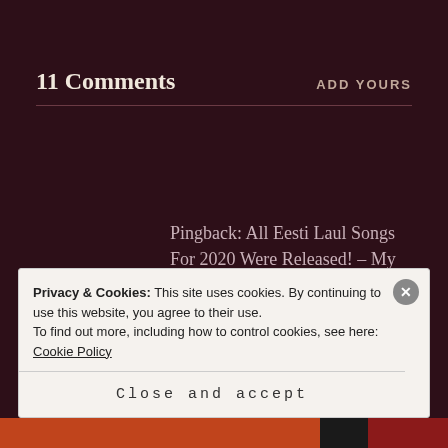11 Comments
ADD YOURS
Pingback: All Eesti Laul Songs For 2020 Were Released! – My Eurofreaks
Pingback: Melodifestivalen 2020: Guide
Privacy & Cookies: This site uses cookies. By continuing to use this website, you agree to their use.
To find out more, including how to control cookies, see here: Cookie Policy
Close and accept